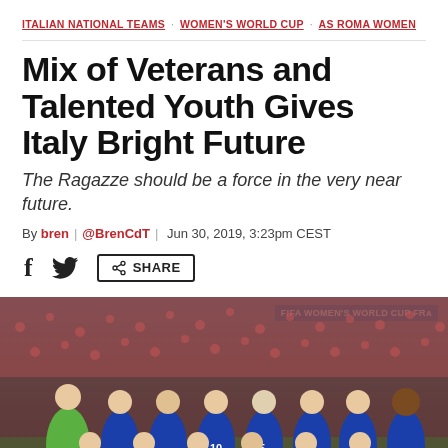ITALIAN NATIONAL TEAMS  WOMEN'S WORLD CUP  AS ROMA WOMEN
Mix of Veterans and Talented Youth Gives Italy Bright Future
The Ragazze should be a force in the very near future.
By bren | @BrenCdT | Jun 30, 2019, 3:23pm CEST
[Figure (photo): Italy women's national football team posing for a group photo at the FIFA Women's World Cup France, players in blue jerseys and one goalkeeper in green, crowd in background, FIFA Women's World Cup France banner visible]